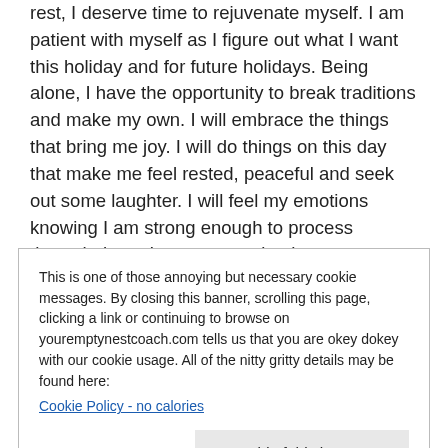rest, I deserve time to rejuvenate myself. I am patient with myself as I figure out what I want this holiday and for future holidays. Being alone, I have the opportunity to break traditions and make my own. I will embrace the things that bring me joy. I will do things on this day that make me feel rested, peaceful and seek out some laughter. I will feel my emotions knowing I am strong enough to process through them. I am an amazing human, whether I'm in a room full of people or whether I'm by myself.
This is one of those annoying but necessary cookie messages. By closing this banner, scrolling this page, clicking a link or continuing to browse on youremptynestcoach.com tells us that you are okey dokey with our cookie usage. All of the nitty gritty details may be found here:
Cookie Policy - no calories
Get rid of this box now.